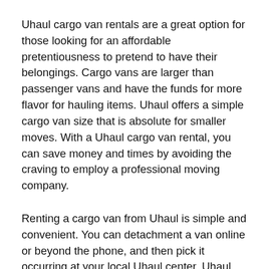Uhaul cargo van rentals are a great option for those looking for an affordable pretentiousness to pretend to have their belongings. Cargo vans are larger than passenger vans and have the funds for more flavor for hauling items. Uhaul offers a simple cargo van size that is absolute for smaller moves. With a Uhaul cargo van rental, you can save money and times by avoiding the craving to employ a professional moving company.
Renting a cargo van from Uhaul is simple and convenient. You can detachment a van online or beyond the phone, and then pick it occurring at your local Uhaul center. Uhaul offers a variety of rental options to fit your needs, including short-term and long-term rentals.